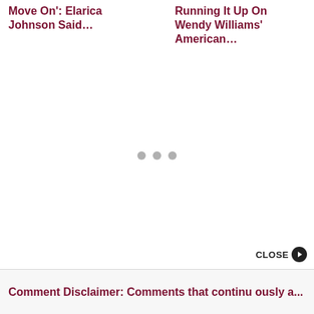Move On': Elarica Johnson Said…
Running It Up On Wendy Williams' American…
[Figure (other): Three gray loading dots centered on the page indicating a loading/placeholder state]
CLOSE
Comment Disclaimer: Comments that continu ously a...